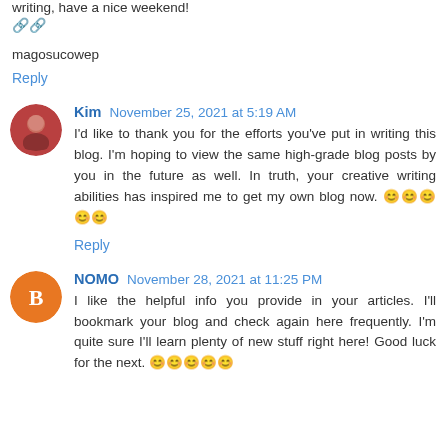writing, have a nice weekend!
🔗🔗
magosucowep
Reply
Kim  November 25, 2021 at 5:19 AM
I'd like to thank you for the efforts you've put in writing this blog. I'm hoping to view the same high-grade blog posts by you in the future as well. In truth, your creative writing abilities has inspired me to get my own blog now. 😊😊😊😊😊
Reply
NOMO  November 28, 2021 at 11:25 PM
I like the helpful info you provide in your articles. I'll bookmark your blog and check again here frequently. I'm quite sure I'll learn plenty of new stuff right here! Good luck for the next. 😊😊😊😊😊